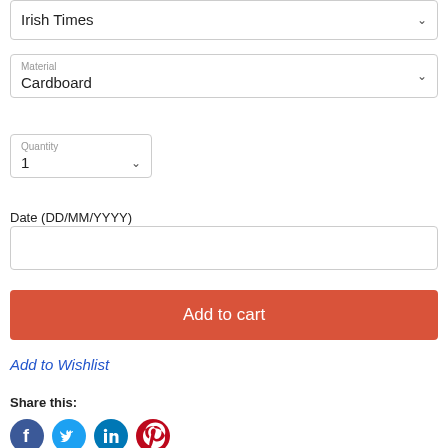Irish Times
Material
Cardboard
Quantity
1
Date (DD/MM/YYYY)
Add to cart
Add to Wishlist
Share this:
[Figure (illustration): Social media icons: Facebook (blue), Twitter (light blue), LinkedIn (teal), Pinterest (red)]